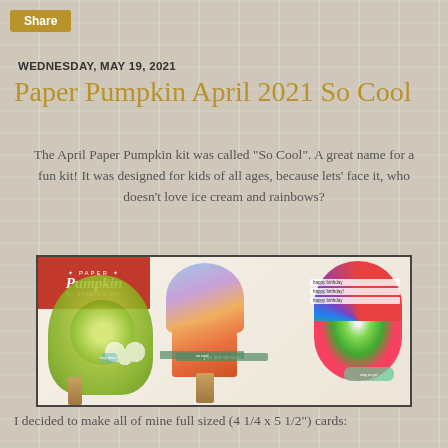Share
WEDNESDAY, MAY 19, 2021
Paper Pumpkin April 2021 So Cool
The April Paper Pumpkin kit was called "So Cool". A great name for a fun kit! It was designed for kids of all ages, because lets' face it, who doesn't love ice cream and rainbows?
[Figure (photo): Paper Pumpkin 'So Cool' kit product photo showing three card designs: kiwi popsicle, orange/sunset popsicle, and watermelon/rainbow themed cards with 'happy birthday' tags]
I decided to make all of mine full sized (4 1/4 x 5 1/2") cards: